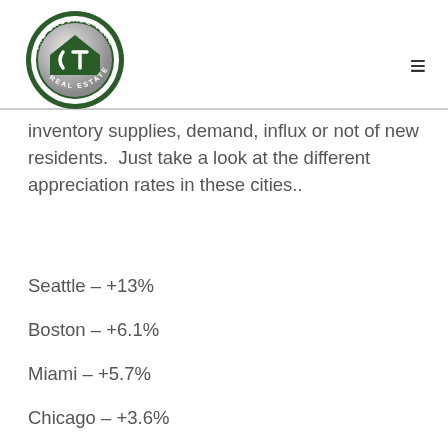[Figure (logo): The Cascade Team Real Estate circular logo with green border and silver/gray center with 'CT' monogram]
inventory supplies, demand, influx or not of new residents.  Just take a look at the different appreciation rates in these cities..
Seattle – +13%
Boston – +6.1%
Miami – +5.7%
Chicago – +3.6%
Overall projections regarding mortgage rates in 2018 come down to 4.3% though Fannie